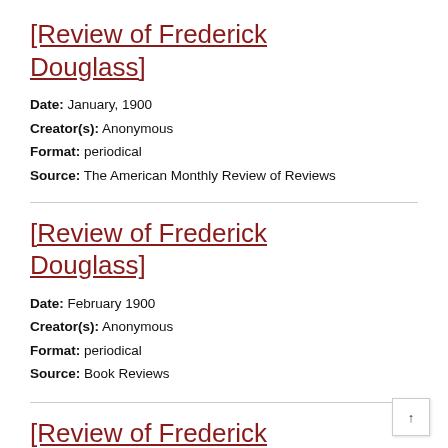[Review of Frederick Douglass]
Date: January, 1900
Creator(s): Anonymous
Format: periodical
Source: The American Monthly Review of Reviews
[Review of Frederick Douglass]
Date: February 1900
Creator(s): Anonymous
Format: periodical
Source: Book Reviews
[Review of Frederick